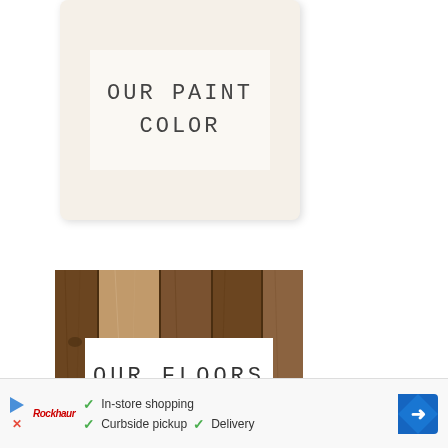[Figure (illustration): A paint color swatch card showing a cream/off-white color with text 'OUR PAINT COLOR' in monospace typewriter font]
[Figure (photo): A photo of wooden floor planks in brown/walnut tones with a white label overlay reading 'OUR FLOORS' in monospace typewriter font]
[Figure (infographic): Advertisement banner with play button icon, a store logo in red, checkmark features listing 'In-store shopping', 'Curbside pickup', 'Delivery', and a blue navigation arrow sign]